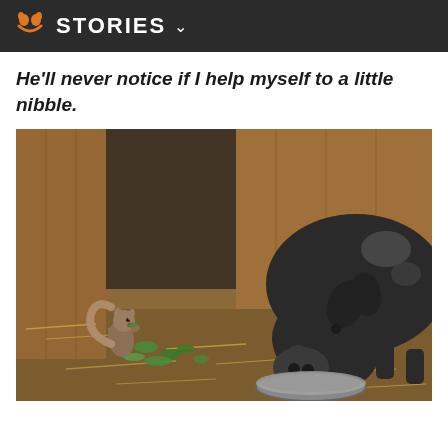STORIES
He'll never notice if I help myself to a little nibble.
[Figure (photo): A small squirrel nibbling on green leaves stands to the left of a large black pot-bellied pig eating from a metal bowl on straw-covered ground inside a barn enclosure.]